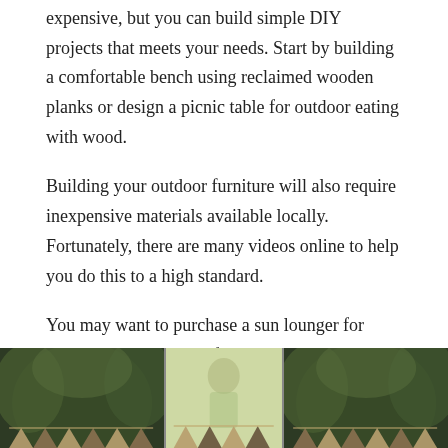expensive, but you can build simple DIY projects that meets your needs. Start by building a comfortable bench using reclaimed wooden planks or design a picnic table for outdoor eating with wood.
Building your outdoor furniture will also require inexpensive materials available locally. Fortunately, there are many videos online to help you do this to a high standard.
You may want to purchase a sun lounger for those sunny spots, comfort is key to relaxing in any seating area. Also, you should consider patio heating if you plan on sitting out into the evening or if your family garden has a projector for an outdoor cinema spot.
[Figure (photo): Outdoor garden photo showing greenery on left and right panels with a light-colored center panel featuring bunting/triangle flags decoration]